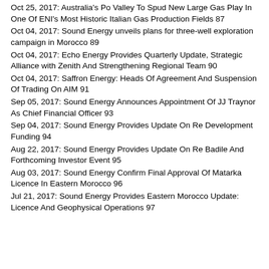Oct 25, 2017: Australia's Po Valley To Spud New Large Gas Play In One Of ENI's Most Historic Italian Gas Production Fields 87
Oct 04, 2017: Sound Energy unveils plans for three-well exploration campaign in Morocco 89
Oct 04, 2017: Echo Energy Provides Quarterly Update, Strategic Alliance with Zenith And Strengthening Regional Team 90
Oct 04, 2017: Saffron Energy: Heads Of Agreement And Suspension Of Trading On AIM 91
Sep 05, 2017: Sound Energy Announces Appointment Of JJ Traynor As Chief Financial Officer 93
Sep 04, 2017: Sound Energy Provides Update On Re Development Funding 94
Aug 22, 2017: Sound Energy Provides Update On Re Badile And Forthcoming Investor Event 95
Aug 03, 2017: Sound Energy Confirm Final Approval Of Matarka Licence In Eastern Morocco 96
Jul 21, 2017: Sound Energy Provides Eastern Morocco Update: Licence And Geophysical Operations 97